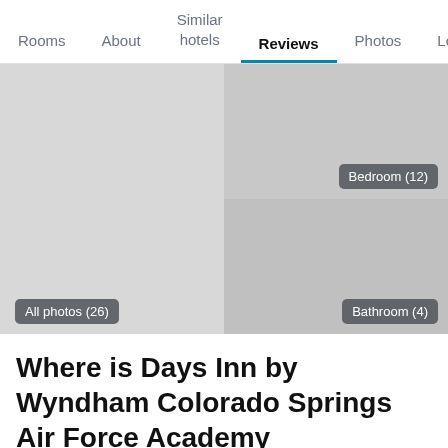Rooms  About  Similar hotels  Reviews  Photos  Location
[Figure (photo): Hotel photo gallery showing bedroom and bathroom images in a grid layout with overlay badges: 'Bedroom (12)', 'Bathroom (4)', and 'All photos (26)']
Where is Days Inn by Wyndham Colorado Springs Air Force Academy